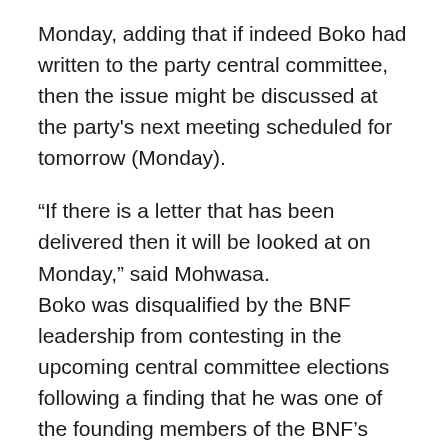Monday, adding that if indeed Boko had written to the party central committee, then the issue might be discussed at the party's next meeting scheduled for tomorrow (Monday).
“If there is a letter that has been delivered then it will be looked at on Monday,” said Mohwasa.
Boko was disqualified by the BNF leadership from contesting in the upcoming central committee elections following a finding that he was one of the founding members of the BNF’s splinter party, New Democratic Front (NDF).
Although he has been barred from running for the BNF’s top post, Boko continues to campaign for the BNF’s presidency and has made it public that he intends to run for the post later today. The post has a cut-off date and...